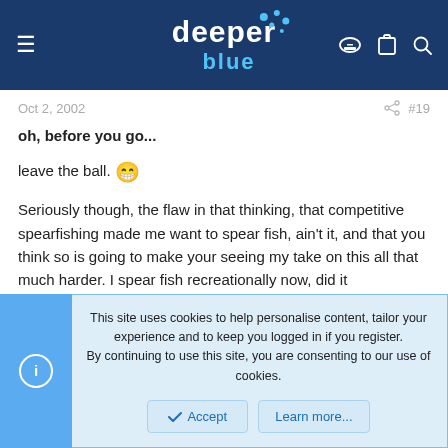deeper blue
Oct 2, 2002  #19
oh, before you go...

leave the ball. 😁

Seriously though, the flaw in that thinking, that competitive spearfishing made me want to spear fish, ain't it, and that you think so is going to make your seeing my take on this all that much harder. I spear fish recreationally now, did it competitively back when the Earth was cooling, thanks and did it for a means of income, too.

My original point that evidently got lost in the fray is, that the way the
This site uses cookies to help personalise content, tailor your experience and to keep you logged in if you register.
By continuing to use this site, you are consenting to our use of cookies.
Accept  Learn more...